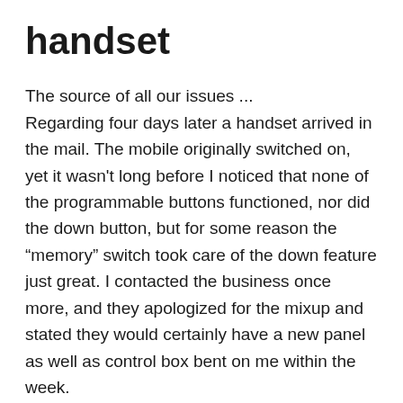handset
The source of all our issues ... Regarding four days later a handset arrived in the mail. The mobile originally switched on, yet it wasn't long before I noticed that none of the programmable buttons functioned, nor did the down button, but for some reason the “memory” switch took care of the down feature just great. I contacted the business once more, and they apologized for the mixup and stated they would certainly have a new panel as well as control box bent on me within the week.
Over two weeks later my new panel as well as control box arrived. When I mounted them both the desk lastly started functioning the